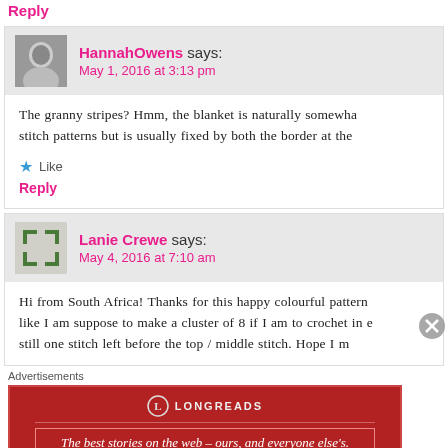Reply
HannahOwens says: May 1, 2016 at 3:13 pm
The granny stripes? Hmm, the blanket is naturally somewhat stitch patterns but is usually fixed by both the border at the
Like
Reply
Lanie Crewe says: May 4, 2016 at 7:10 am
Hi from South Africa! Thanks for this happy colourful pattern like I am suppose to make a cluster of 8 if I am to crochet in e still one stitch left before the top / middle stitch. Hope I m
Advertisements
[Figure (other): Longreads advertisement banner in dark red with logo and text: The best stories on the web – ours, and everyone else's.]